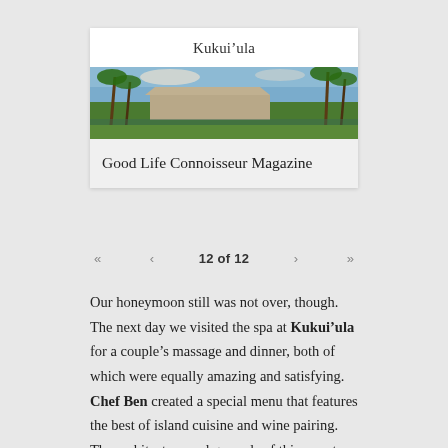Kukui’ula
[Figure (photo): Panoramic photo of a tropical resort with palm trees, lush green grounds, and buildings under a blue sky — Kukui'ula resort in Hawaii.]
Good Life Connoisseur Magazine
12 of 12
Our honeymoon still was not over, though. The next day we visited the spa at Kukui’ula for a couple’s massage and dinner, both of which were equally amazing and satisfying. Chef Ben created a special menu that features the best of island cuisine and wine pairing. The architecture and grounds of this resort are a sight to behold with views